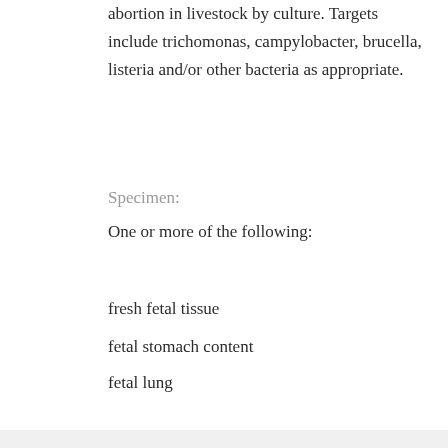abortion in livestock by culture. Targets include trichomonas, campylobacter, brucella, listeria and/or other bacteria as appropriate.
Specimen:
One or more of the following:
fresh fetal tissue
fetal stomach content
fetal lung
placenta
Species: Bovine, Caprine, Ovine, Porcine
$25.00
Details